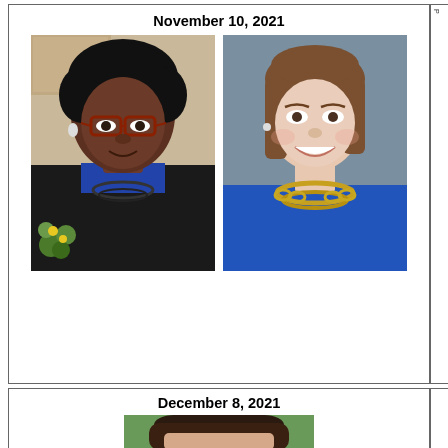November 10, 2021
[Figure (photo): Two portrait photos side by side: left photo shows a Black woman wearing glasses and a blue top with a dark jacket; right photo shows a white woman with brown hair wearing a blue sleeveless top and gold necklace, smiling.]
December 8, 2021
[Figure (photo): Portrait photo of a woman with dark hair, partially visible, green outdoor background.]